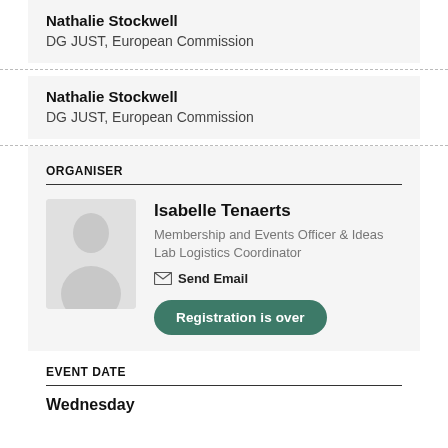Nathalie Stockwell
DG JUST, European Commission
Nathalie Stockwell
DG JUST, European Commission
ORGANISER
[Figure (illustration): Silhouette avatar of a person]
Isabelle Tenaerts
Membership and Events Officer & Ideas Lab Logistics Coordinator
Send Email
Registration is over
EVENT DATE
Wednesday